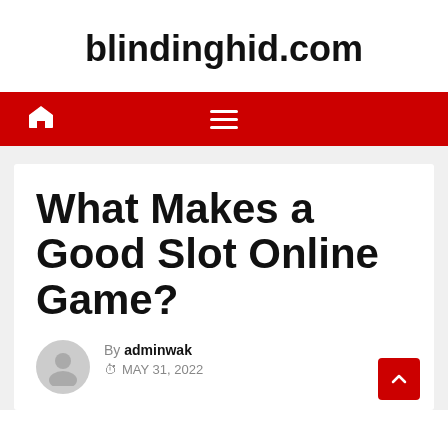blindinghid.com
[Figure (other): Red navigation bar with white home icon on the left and white hamburger menu icon in the center]
What Makes a Good Slot Online Game?
By adminwak
MAY 31, 2022